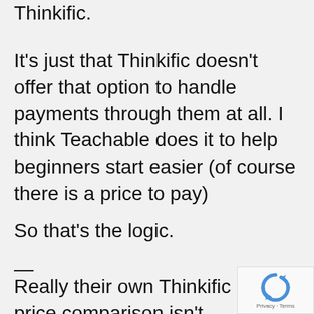Thinkific.
It’s just that Thinkific doesn’t offer that option to handle payments through them at all. I think Teachable does it to help beginners start easier (of course there is a price to pay)
So that’s the logic.
—
Really their own Thinkific price comparison isn’t accurate – how